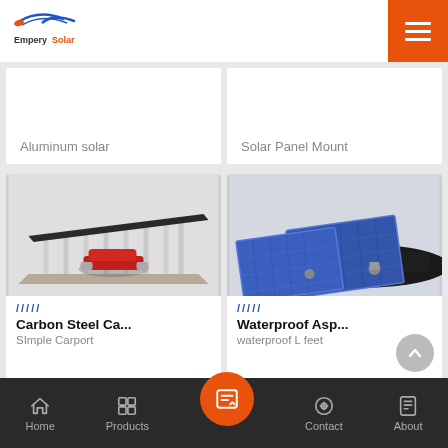[Figure (logo): EmperySolar logo with blue swoosh icon and orange/black text]
Aluminum solar
Solar Panel Mount
[Figure (photo): 3D render of a carbon steel carport structure with solar panels on roof, red car underneath]
////
Carbon Steel Ca...
SImple Carport
[Figure (photo): Waterproof asphalt solar panel mount system, flat solar panels on dark roofing material]
////
Waterproof Asp...
waterproof  L feet
Home | Products | (inquiry) | Contact | About